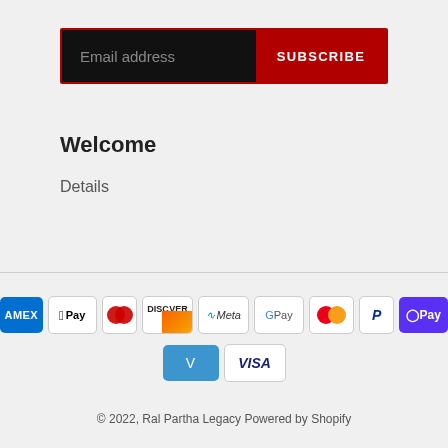[Figure (screenshot): Email subscription bar with black input field showing 'Email address' placeholder and red 'SUBSCRIBE' button]
Welcome
Details
[Figure (infographic): Payment method icons row 1: AMEX, Apple Pay, Diners Club, Discover, Meta Pay, Google Pay, Mastercard, PayPal, Shop Pay]
[Figure (infographic): Payment method icons row 2: Venmo, Visa]
© 2022, Ral Partha Legacy Powered by Shopify